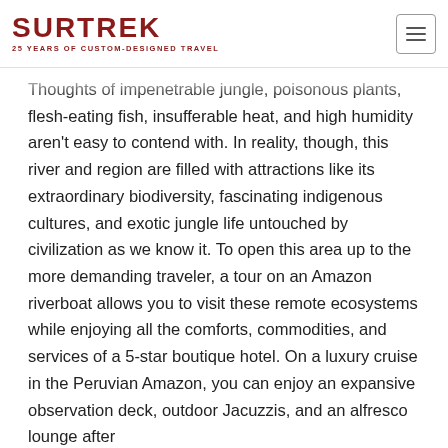SURTREK | 25 YEARS OF CUSTOM-DESIGNED TRAVEL
Thoughts of impenetrable jungle, poisonous plants, flesh-eating fish, insufferable heat, and high humidity aren't easy to contend with. In reality, though, this river and region are filled with attractions like its extraordinary biodiversity, fascinating indigenous cultures, and exotic jungle life untouched by civilization as we know it. To open this area up to the more demanding traveler, a tour on an Amazon riverboat allows you to visit these remote ecosystems while enjoying all the comforts, commodities, and services of a 5-star boutique hotel. On a luxury cruise in the Peruvian Amazon, you can enjoy an expansive observation deck, outdoor Jacuzzis, and an alfresco lounge after